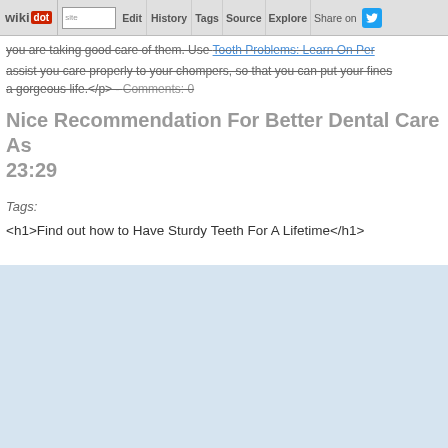wikidot | site | Edit | History | Tags | Source | Explore | Share on Twitter
you are taking good care of them. Use Tooth Problems: Learn On Per assist you care properly to your chompers, so that you can put your fines a gorgeous life.</p> - Comments: 0
Nice Recommendation For Better Dental Care As 23:29
Tags:
<h1>Find out how to Have Sturdy Teeth For A Lifetime</h1>
[Figure (other): Light blue/grey blank content area placeholder]